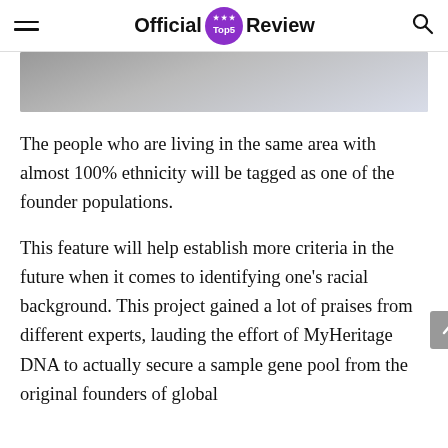Official Top5 Review
[Figure (photo): Partial photo of a person wearing dark clothing, cropped at top of page]
The people who are living in the same area with almost 100% ethnicity will be tagged as one of the founder populations.
This feature will help establish more criteria in the future when it comes to identifying one's racial background. This project gained a lot of praises from different experts, lauding the effort of MyHeritage DNA to actually secure a sample gene pool from the original founders of global